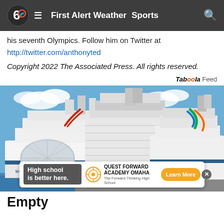First Alert Weather  Sports
his seventh Olympics. Follow him on Twitter at
http://twitter.com/anthonyted
Copyright 2022 The Associated Press. All rights reserved.
Taboola Feed
[Figure (photo): Two large cruise ships docked side by side — Wonder of the Seas on the left and Freedom of the Seas on the right — photographed under a blue sky with some clouds. Colorful beach tents visible at the dock.]
High school is better here. QUEST FORWARD ACADEMY OMAHA The Forward-Thinking High School Learn More
Empty